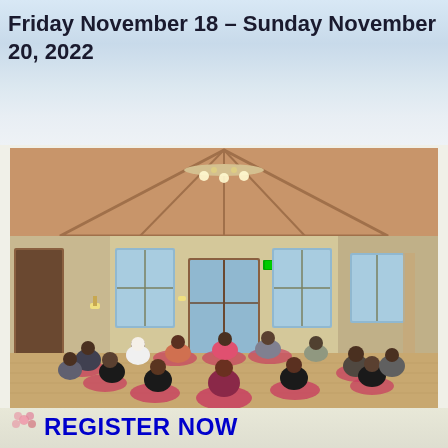Friday November 18 – Sunday November 20, 2022
[Figure (photo): Group of approximately 15 people sitting in a circle on pink/red meditation mats on a wooden floor inside a warm wooden-beamed hall with chandeliers and large windows.]
REGISTER NOW